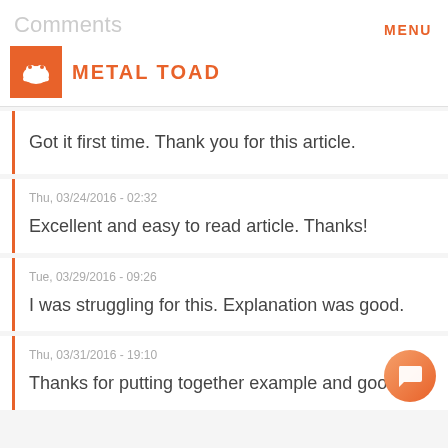Comments
MENU
[Figure (logo): Metal Toad logo: orange square with white toad icon and orange text METAL TOAD]
Got it first time. Thank you for this article.
Thu, 03/24/2016 - 02:32
Excellent and easy to read article. Thanks!
Tue, 03/29/2016 - 09:26
I was struggling for this. Explanation was good.
Thu, 03/31/2016 - 19:10
Thanks for putting together example and good...